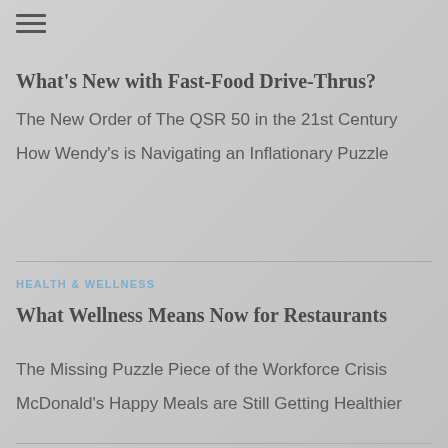[Figure (other): Hamburger menu icon with three horizontal lines]
What’s New with Fast-Food Drive-Thrus?
The New Order of The QSR 50 in the 21st Century
How Wendy's is Navigating an Inflationary Puzzle
HEALTH & WELLNESS
What Wellness Means Now for Restaurants
The Missing Puzzle Piece of the Workforce Crisis
McDonald's Happy Meals are Still Getting Healthier